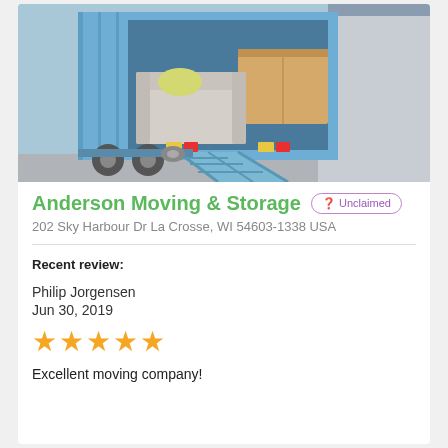[Figure (photo): Photo of a blue moving truck with open back doors showing a sofa with yellow pillow and cardboard box, with a blue ramp extended to the ground.]
Anderson Moving & Storage
? Unclaimed
202 Sky Harbour Dr La Crosse, WI 54603-1338 USA
Recent review:
Philip Jorgensen
Jun 30, 2019
[Figure (other): Five yellow star rating]
Excellent moving company!